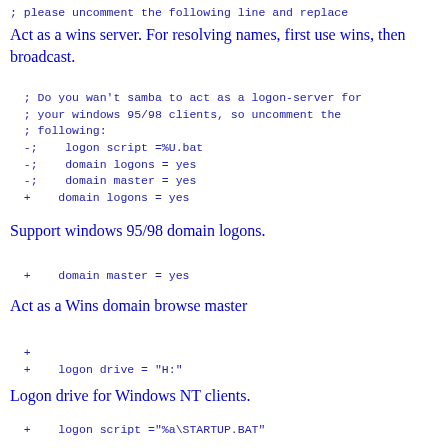; please uncomment the following line and replace
Act as a wins server. For resolving names, first use wins, then broadcast.
; Do you wan't samba to act as a logon-server for
; your windows 95/98 clients, so uncomment the
; following:
-;    logon script =%U.bat
-;    domain logons = yes
-;    domain master = yes
+    domain logons = yes
Support windows 95/98 domain logons.
+    domain master = yes
Act as a Wins domain browse master
+
+    logon drive = "H:"
Logon drive for Windows NT clients.
+    logon script ="%a\STARTUP.BAT"